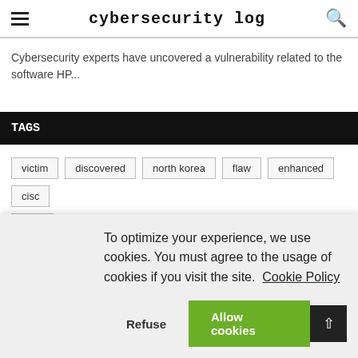Cybersecurity Log
Cybersecurity experts have uncovered a vulnerability related to the software HP...
TAGS
victim
discovered
north korea
flaw
enhanced
cisco
cyber
To optimize your experience, we use cookies. You must agree to the usage of cookies if you visit the site. Cookie Policy
Refuse
Allow cookies